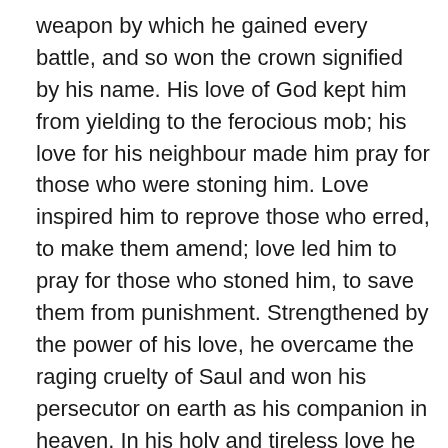weapon by which he gained every battle, and so won the crown signified by his name. His love of God kept him from yielding to the ferocious mob; his love for his neighbour made him pray for those who were stoning him. Love inspired him to reprove those who erred, to make them amend; love led him to pray for those who stoned him, to save them from punishment. Strengthened by the power of his love, he overcame the raging cruelty of Saul and won his persecutor on earth as his companion in heaven. In his holy and tireless love he longed to gain by prayer those whom he could not convert by admonition.
  Now at last, Paul rejoices with Stephen, with Stephen he delights in the glory of Christ, with Stephen he exults, with Stephen he reigns. Stephen went first, slain by the stones thrown by Paul, but Paul followed after, helped by the prayer of Stephen. This, surely, is the true life, my